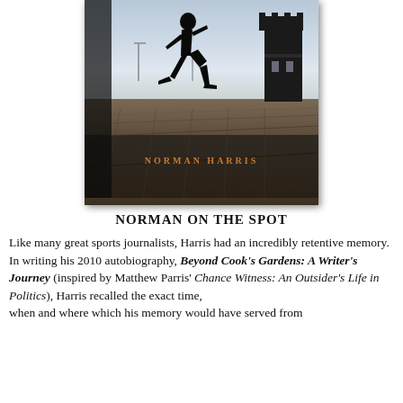[Figure (photo): Black and white book cover photo of a runner silhouetted against a sky, running on cobblestone street with a castle tower in the background. Author name 'NORMAN HARRIS' appears in gold/amber text near the bottom of the cover.]
NORMAN ON THE SPOT
Like many great sports journalists, Harris had an incredibly retentive memory. In writing his 2010 autobiography, Beyond Cook's Gardens: A Writer's Journey (inspired by Matthew Parris' Chance Witness: An Outsider's Life in Politics), Harris recalled the exact time, when and where which his memory would have served from